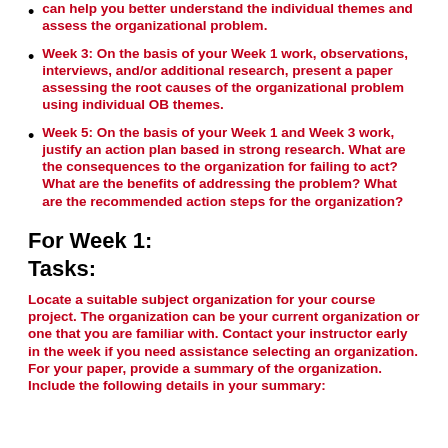Week 3: On the basis of your Week 1 work, observations, interviews, and/or additional research, present a paper assessing the root causes of the organizational problem using individual OB themes.
Week 5: On the basis of your Week 1 and Week 3 work, justify an action plan based in strong research. What are the consequences to the organization for failing to act? What are the benefits of addressing the problem? What are the recommended action steps for the organization?
For Week 1:
Tasks:
Locate a suitable subject organization for your course project. The organization can be your current organization or one that you are familiar with. Contact your instructor early in the week if you need assistance selecting an organization. For your paper, provide a summary of the organization. Include the following details in your summary: